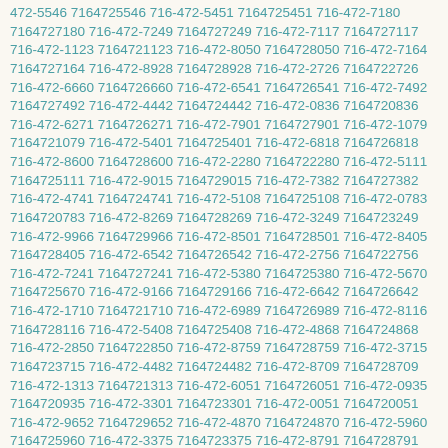472-5546 7164725546 716-472-5451 7164725451 716-472-7180 7164727180 716-472-7249 7164727249 716-472-7117 7164727117 716-472-1123 7164721123 716-472-8050 7164728050 716-472-7164 7164727164 716-472-8928 7164728928 716-472-2726 7164722726 716-472-6660 7164726660 716-472-6541 7164726541 716-472-7492 7164727492 716-472-4442 7164724442 716-472-0836 7164720836 716-472-6271 7164726271 716-472-7901 7164727901 716-472-1079 7164721079 716-472-5401 7164725401 716-472-6818 7164726818 716-472-8600 7164728600 716-472-2280 7164722280 716-472-5111 7164725111 716-472-9015 7164729015 716-472-7382 7164727382 716-472-4741 7164724741 716-472-5108 7164725108 716-472-0783 7164720783 716-472-8269 7164728269 716-472-3249 7164723249 716-472-9966 7164729966 716-472-8501 7164728501 716-472-8405 7164728405 716-472-6542 7164726542 716-472-2756 7164722756 716-472-7241 7164727241 716-472-5380 7164725380 716-472-5670 7164725670 716-472-9166 7164729166 716-472-6642 7164726642 716-472-1710 7164721710 716-472-6989 7164726989 716-472-8116 7164728116 716-472-5408 7164725408 716-472-4868 7164724868 716-472-2850 7164722850 716-472-8759 7164728759 716-472-3715 7164723715 716-472-4482 7164724482 716-472-8709 7164728709 716-472-1313 7164721313 716-472-6051 7164726051 716-472-0935 7164720935 716-472-3301 7164723301 716-472-0051 7164720051 716-472-9652 7164729652 716-472-4870 7164724870 716-472-5960 7164725960 716-472-3375 7164723375 716-472-8791 7164728791 716-472-4166 7164724166 716-472-9639 7164729639 716-472-5511 7164725511 716-472-5235 7164725235 716-472-2365 7164722365 716-472-0985 7164720985 716-472-4055 7164724055 716-472-8813